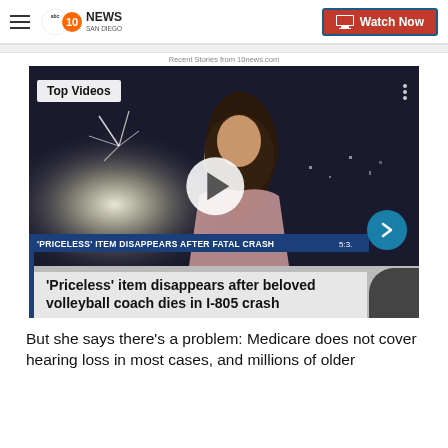abc 10 NEWS SAN DIEGO | Watch Now
Recent Stories from 10news.com
[Figure (screenshot): Video thumbnail of a woman outdoors at night with fireworks. Top Videos badge in top-left. Play button in center. Lower-third blue bar reads "'PRICELESS' ITEM DISAPPEARS AFTER FATAL CRASH". Overlay caption: "'Priceless' item disappears after beloved volleyball coach dies in I-805 crash"]
But she says there's a problem: Medicare does not cover hearing loss in most cases, and millions of older